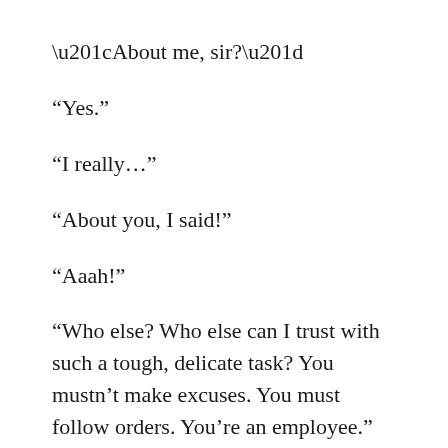“About me, sir?”
“Yes.”
“I really…”
“About you, I said!”
“Aaah!”
“Who else? Who else can I trust with such a tough, delicate task? You mustn’t make excuses. You must follow orders. You’re an employee.”
“…